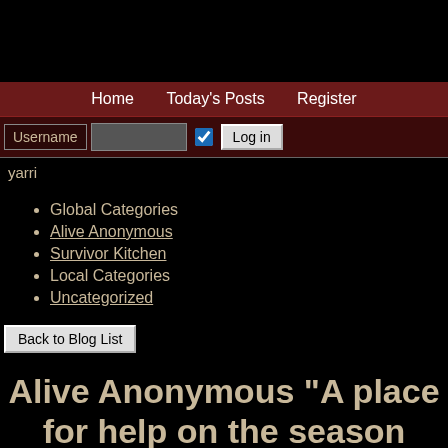Home  Today's Posts  Register
Username  [input]  [checkbox]  Log in
yarri
Global Categories
Alive Anonymous
Survivor Kitchen
Local Categories
Uncategorized
Back to Blog List
Alive Anonymous "A place for help on the season breaks."
Create Blog Cats